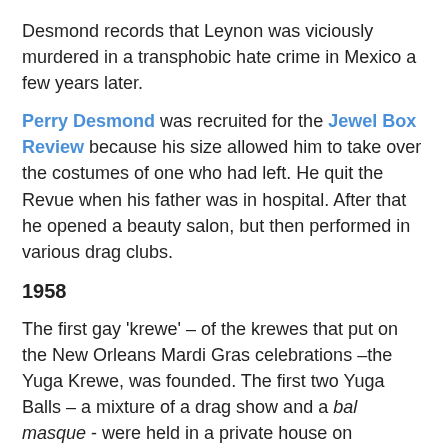Desmond records that Leynon was viciously murdered in a transphobic hate crime in Mexico a few years later.
Perry Desmond was recruited for the Jewel Box Review because his size allowed him to take over the costumes of one who had left. He quit the Revue when his father was in hospital. After that he opened a beauty salon, but then performed in various drag clubs.
1958
The first gay 'krewe' – of the krewes that put on the New Orleans Mardi Gras celebrations –the Yuga Krewe, was founded. The first two Yuga Balls – a mixture of a drag show and a bal masque - were held in a private house on Carrollton Avenue, but the neighbors had become irate. They did not join the Mardi Gars parade.
Candy Lee had started a career as a female impersonator at the Club My-O-My on Lake Pontchartrain. She also worked as a bartender at Bacino's bar, and was an acquaintance of playwright Tennessee Williams, who wrote a one-act play, And Tell Sad Stories of the Death of Queens in 1958, which